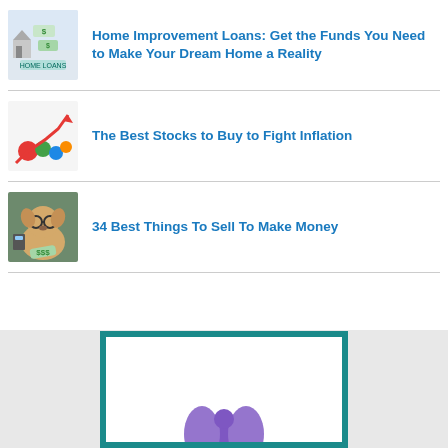[Figure (photo): Houses with money, illustrating home improvement loans]
Home Improvement Loans: Get the Funds You Need to Make Your Dream Home a Reality
[Figure (photo): Stock market chart going up with red arrow, illustrating stocks fighting inflation]
The Best Stocks to Buy to Fight Inflation
[Figure (photo): Dog wearing glasses with calculator and money, illustrating things to sell to make money]
34 Best Things To Sell To Make Money
[Figure (illustration): Teal-bordered box at bottom of page with partial illustration visible]